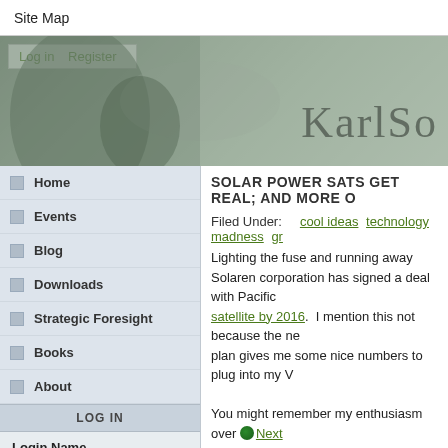Site Map
[Figure (screenshot): Website banner with dark atmospheric background image, login/register links, and site title 'KarlSo' (truncated)]
NAVIGATION
Home
Events
Blog
Downloads
Strategic Foresight
Books
About
LOG IN
Login Name
Password
SOLAR POWER SATS GET REAL; AND MORE O
Filed Under: cool ideas technology madness gr
Lighting the fuse and running away
Solaren corporation has signed a deal with Pacific satellite by 2016. I mention this not because the ne plan gives me some nice numbers to plug into my V

You might remember my enthusiasm over Next Future's recent discussion of Project Orion and the notion of using nuclear bombs to loft very large pay into space (wheeee!). I called this idea the Verne g feeble public relations attempt. Anyway, Brian War calculations over at NBF gave a figure of 280,000 t the lift-capacity of a single 10-megaton bomb. At th suggested using ten or so of these suckers to lift an continental powersat infrastructure into space. But have hard numbers about how much mass equale